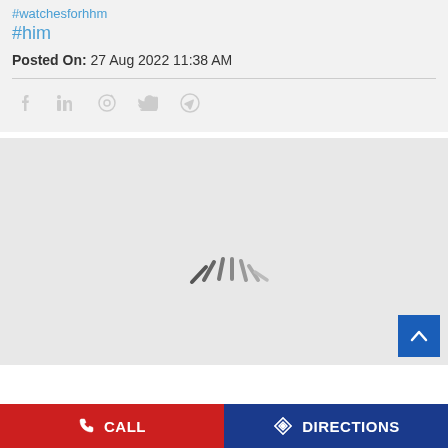#watchesforhhm
#him
Posted On: 27 Aug 2022 11:38 AM
[Figure (screenshot): Loading spinner / image placeholder with spinning lines on grey background]
CALL   DIRECTIONS